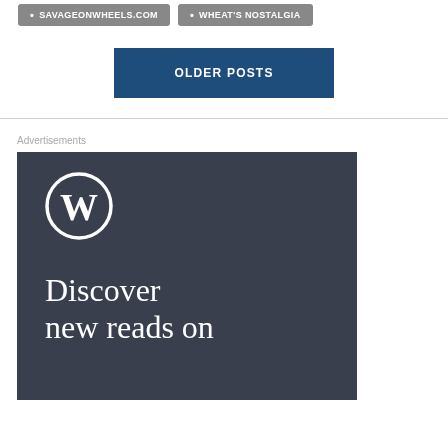SAVAGEONWHEELS.COM
WHEAT'S NOSTALGIA
OLDER POSTS
Advertisements
[Figure (logo): WordPress advertisement banner with WordPress logo and text 'Discover new reads on']